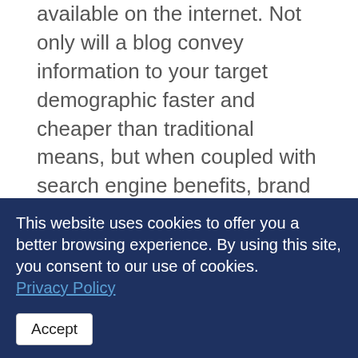available on the internet. Not only will a blog convey information to your target demographic faster and cheaper than traditional means, but when coupled with search engine benefits, brand visibility, and a value-based proposition, a blog should be an essential part of your marketing platform.
For more information, please contact sales@imageworksstudio.com.
ImageWorks Studio, a leading marketing and branding agency, specializes in branding and marketing strategies, conv optimization and
This website uses cookies to offer you a better browsing experience. By using this site, you consent to our use of cookies. Privacy Policy